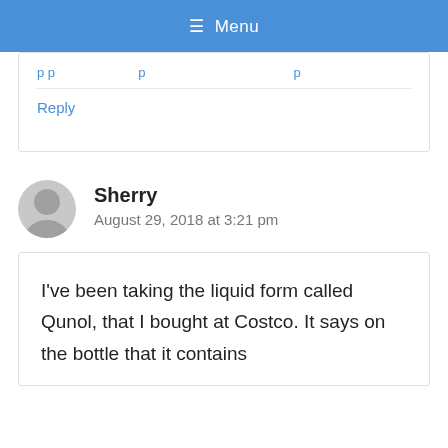≡ Menu
Reply
Sherry
August 29, 2018 at 3:21 pm
I've been taking the liquid form called Qunol, that I bought at Costco. It says on the bottle that it contains